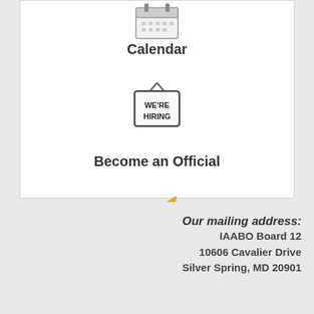[Figure (illustration): Calendar icon at the top of the white card]
Calendar
[Figure (illustration): We're Hiring sign icon]
Become an Official
[Figure (illustration): Chart/form with pencil icon representing Technical Form]
Technical Form
Our mailing address:
IAABO Board 12
10606 Cavalier Drive
Silver Spring, MD 20901